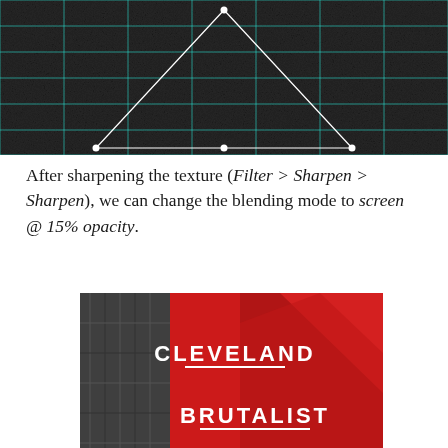[Figure (screenshot): Dark design software screenshot showing a texture with a cyan/teal grid overlay and a white triangle/pyramid shape outline. The background is very dark (near black) with a noisy/grainy texture and teal horizontal and vertical grid lines. A white geometric triangle shape is drawn over the texture.]
After sharpening the texture (Filter > Sharpen > Sharpen), we can change the blending mode to screen @ 15% opacity.
[Figure (photo): Book or poster cover with a red background showing a brutalist building photograph. Bold white text reads 'CLEVELAND' with an underline, and below it 'BRUTALIST' with an underline. There is also a black-and-white photo of a brutalist concrete building on the left side of the image.]